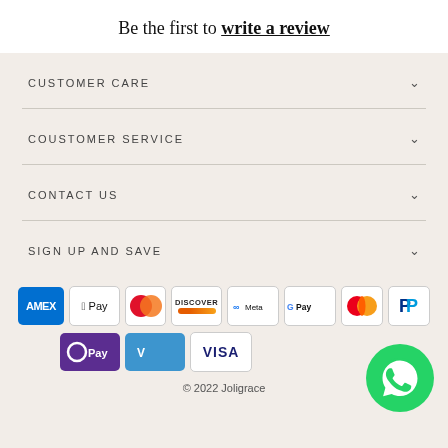Be the first to write a review
CUSTOMER CARE
COUSTOMER SERVICE
CONTACT US
SIGN UP AND SAVE
[Figure (infographic): Payment method logos: Amex, Apple Pay, Diners Club, Discover, Meta Pay, Google Pay, Mastercard, PayPal, OPay, Venmo, Visa]
[Figure (illustration): WhatsApp green circular button icon]
© 2022 Joligrace